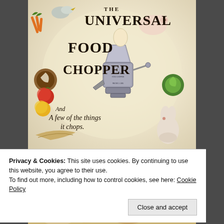[Figure (illustration): Vintage advertisement for 'The Universal Food Chopper' showing a manual meat grinder/food chopper with illustrations of various foods and animals around it including pigs, rabbits, vegetables (carrots, cabbage), fruits (apples), coconut, fish, and birds. Text reads: THE UNIVERSAL FOOD CHOPPER And A few of the things it chops. MANUFACTURED BY [manufacturer name cut off]]
Privacy & Cookies: This site uses cookies. By continuing to use this website, you agree to their use.
To find out more, including how to control cookies, see here: Cookie Policy
Close and accept
[Figure (illustration): Bottom strip of the vintage Universal Food Chopper advertisement, partially visible]